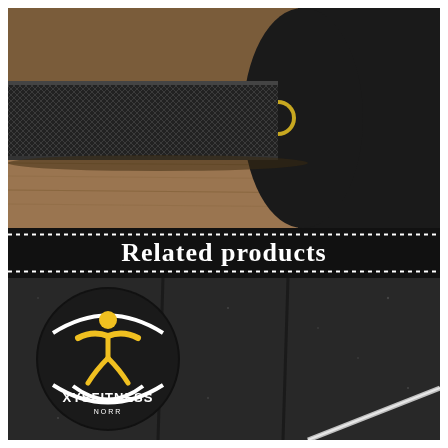[Figure (photo): Close-up photograph of a black knurled barbell with gold/yellow collar ring resting on a wooden surface]
Related products
[Figure (photo): Black rubber gym flooring tiles with XYS Fitness logo circle overlay and a silver barbell in the lower right corner]